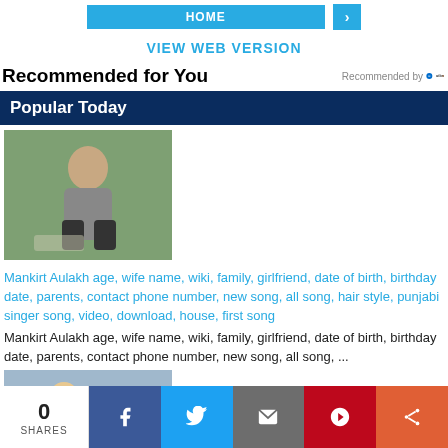HOME  >
VIEW WEB VERSION
Recommended for You
Recommended by Outbrain
Popular Today
[Figure (photo): Man in grey outfit crouching outdoors]
Mankirt Aulakh age, wife name, wiki, family, girlfriend, date of birth, birthday date, parents, contact phone number, new song, all song, hair style, punjabi singer song, video, download, house, first song
Mankirt Aulakh age, wife name, wiki, family, girlfriend, date of birth, birthday date, parents, contact phone number, new song, all song, ...
[Figure (photo): Two people outdoors with cityscape background]
0 SHARES  Facebook  Twitter  Email  Pinterest  More